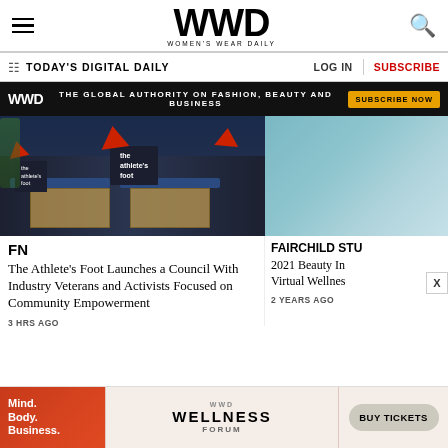WWD — Women's Wear Daily
TODAY'S DIGITAL DAILY | LOG IN | SUBSCRIBE
[Figure (infographic): WWD ad banner: 'THE GLOBAL AUTHORITY ON FASHION, BEAUTY AND BUSINESS' with SUBSCRIBE NOW button]
[Figure (photo): Exterior of The Athlete's Foot retail store at dusk with illuminated signage showing brand logo with red chevron]
FN
The Athlete's Foot Launches a Council With Industry Veterans and Activists Focused on Community Empowerment
3 HRS AGO
[Figure (photo): Partial image of teal/blue colored surface or fabric (right column article image)]
FAIRCHILD STU
2021 Beauty In Virtual Wellnes
2 YEARS AGO
[Figure (infographic): WWD Wellness Forum ad: Mind. Body. Business. | WWD WELLNESS FORUM | BUY TICKETS]